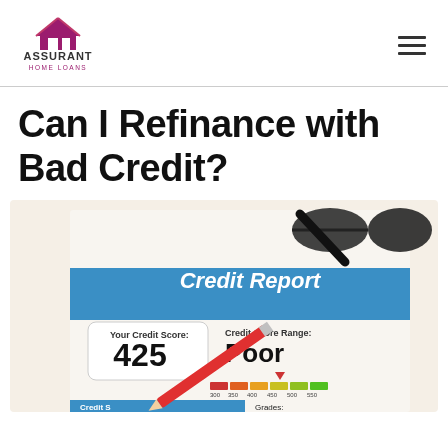[Figure (logo): Assurant Home Loans logo with house icon above text]
Can I Refinance with Bad Credit?
[Figure (photo): Photo of a credit report document showing a credit score of 425 (Poor range), with glasses and a red pencil on top. The report shows Credit Score Range indicator with Poor rating and a bar showing scores 300-550. Bottom shows Credit Score Grades section.]